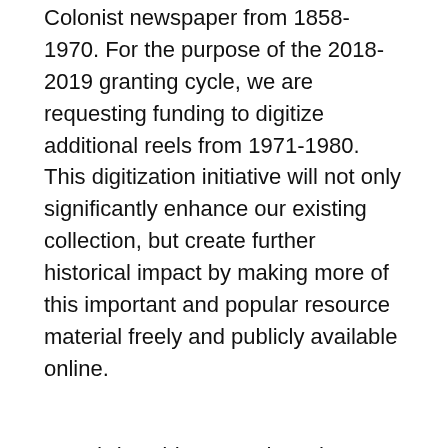Colonist newspaper from 1858-1970. For the purpose of the 2018-2019 granting cycle, we are requesting funding to digitize additional reels from 1971-1980. This digitization initiative will not only significantly enhance our existing collection, but create further historical impact by making more of this important and popular resource material freely and publicly available online.
BC Bird Taxidermy and Product Packaging Digitization Project
Museum of Vancouver
$10,000
The Museum of Vancouver (Mov) proposes to digitize two cateories of artefacts with significant British Columbia stories to tell. The collections selected are bird taxidermy and product packaging. The artefacts selected includes